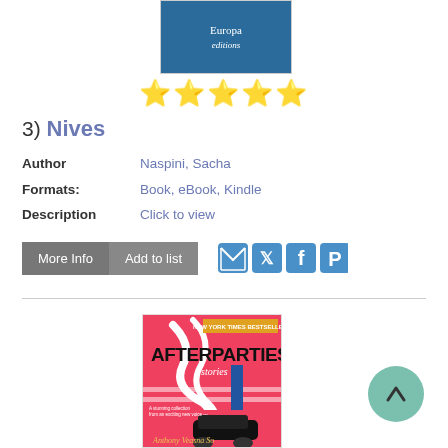[Figure (illustration): Top portion of a book cover with blue background showing 'Europa editions' text]
[Figure (illustration): Five yellow star rating icons]
3) Nives
Author: Naspini, Sacha
Formats: Book, eBook, Kindle
Description: Click to view
[Figure (illustration): More Info and Add to list buttons followed by email, Twitter, Facebook, and Pinterest social share icons]
[Figure (illustration): Book cover for 'Afterparties: Stories' by Anthony Veasna So, New York Times Bestseller, pink/red cover with illustrated car scene]
[Figure (illustration): Green circular scroll-to-top button with upward arrow]